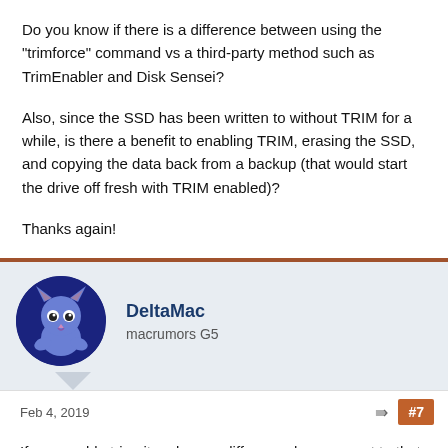Do you know if there is a difference between using the "trimforce" command vs a third-party method such as TrimEnabler and Disk Sensei?
Also, since the SSD has been written to without TRIM for a while, is there a benefit to enabling TRIM, erasing the SSD, and copying the data back from a backup (that would start the drive off fresh with TRIM enabled)?
Thanks again!
DeltaMac
macrumors G5
Feb 4, 2019  #7
If you enable trim, it makes no difference how you get to that result.
(The tri...
Running...ersion of